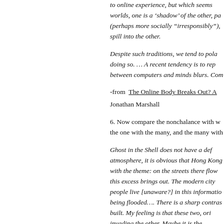to online experience, but which seems worlds, one is a ‘shadow’ of the other, pa (perhaps more socially “irresponsibly”), spill into the other.
Despite such traditions, we tend to pola doing so. … A recent tendency is to rep between computers and minds blurs. Com
-from The Online Body Breaks Out? A Jonathan Marshall
6. Now compare the nonchalance with w the one with the many, and the many with
Ghost in the Shell does not have a def atmosphere, it is obvious that Hong Kong with the theme: on the streets there flow this excess brings out. The modern city people live [unaware?] in this informatio being flooded…. There is a sharp contras built. My feeling is that these two, ori invading the other. Maybe it is the